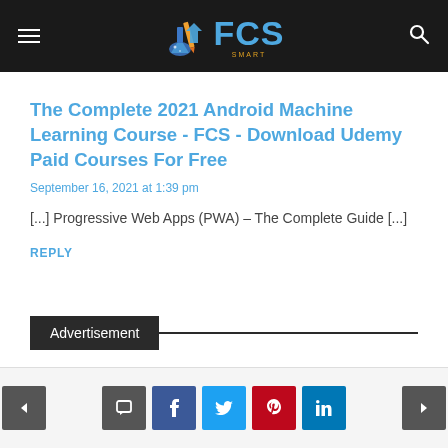FCS — Free Courses Smart (logo header)
The Complete 2021 Android Machine Learning Course - FCS - Download Udemy Paid Courses For Free
September 16, 2021 at 1:39 pm
[...] Progressive Web Apps (PWA) – The Complete Guide [...]
REPLY
Advertisement
Navigation: previous, comment, facebook, twitter, pinterest, linkedin, next